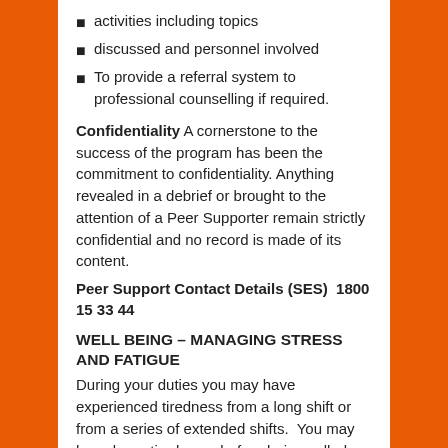activities including topics
discussed and personnel involved
To provide a referral system to professional counselling if required.
Confidentiality A cornerstone to the success of the program has been the commitment to confidentiality. Anything revealed in a debrief or brought to the attention of a Peer Supporter remain strictly confidential and no record is made of its content.
Peer Support Contact Details (SES)  1800 15 33 44
WELL BEING – MANAGING STRESS AND FATIGUE
During your duties you may have experienced tiredness from a long shift or from a series of extended shifts.  You may have been tired even before being called out.  Stress is also a natural part of life – a certain amount of stress can energise us and provide us with interest and challenge. However, stress resulting from fatigue or day-to-day pressures can seriously affect your capacity to work effectively.  Working throughout tiredness can be difficult and frustrating – it can also be very dangerous.  It